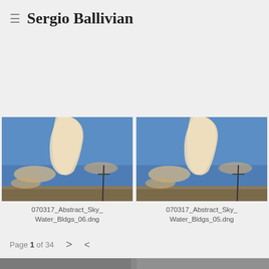≡  Sergio Ballivian
903_Balan_Flooded_04.dng
070317_Abstract_Sky_Water_Bldgs_39.dng
[Figure (photo): Sky with dramatic white clouds and blue sky, outdoor photo]
070317_Abstract_Sky_Water_Bldgs_06.dng
[Figure (photo): Sky with dramatic white clouds and blue sky, outdoor photo]
070317_Abstract_Sky_Water_Bldgs_05.dng
Page 1 of 34  >  <